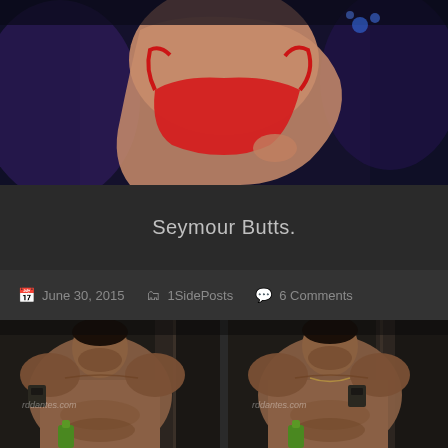[Figure (photo): Cropped photo of a person in a red swimsuit/bikini bottom, dark blue background, partial torso/hip view from the side]
Seymour Butts.
June 30, 2015  1SidePosts  6 Comments
[Figure (photo): Two side-by-side photos of a muscular shirtless Asian man holding a green bottle, taken in a dimly lit room, with watermark text 'rddantes.com']